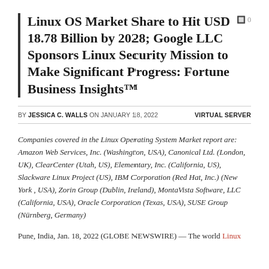Linux OS Market Share to Hit USD 18.78 Billion by 2028; Google LLC Sponsors Linux Security Mission to Make Significant Progress: Fortune Business Insights™
BY JESSICA C. WALLS ON JANUARY 18, 2022    VIRTUAL SERVER
Companies covered in the Linux Operating System Market report are: Amazon Web Services, Inc. (Washington, USA), Canonical Ltd. (London, UK), ClearCenter (Utah, US), Elementary, Inc. (California, US), Slackware Linux Project (US), IBM Corporation (Red Hat, Inc.) (New York , USA), Zorin Group (Dublin, Ireland), MontaVista Software, LLC (California, USA), Oracle Corporation (Texas, USA), SUSE Group (Nürnberg, Germany)
Pune, India, Jan. 18, 2022 (GLOBE NEWSWIRE) — The world Linux